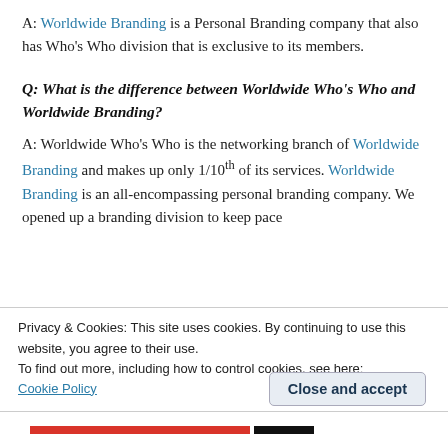A: Worldwide Branding is a Personal Branding company that also has Who's Who division that is exclusive to its members.
Q: What is the difference between Worldwide Who's Who and Worldwide Branding?
A: Worldwide Who's Who is the networking branch of Worldwide Branding and makes up only 1/10th of its services. Worldwide Branding is an all-encompassing personal branding company. We opened up a branding division to keep pace with the changing marketing landscape.
Privacy & Cookies: This site uses cookies. By continuing to use this website, you agree to their use.
To find out more, including how to control cookies, see here:
Cookie Policy